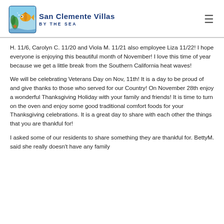[Figure (logo): San Clemente Villas By The Sea logo with fish and starfish illustration, blue bold text reading 'San Clemente Villas' and subtitle 'BY THE SEA']
H. 11/6, Carolyn C. 11/20 and Viola M. 11/21 also employee Liza 11/22! I hope everyone is enjoying this beautiful month of November! I love this time of year because we get a little break from the Southern California heat waves!
We will be celebrating Veterans Day on Nov, 11th! It is a day to be proud of and give thanks to those who served for our Country! On November 28th enjoy a wonderful Thanksgiving Holiday with your family and friends! It is time to turn on the oven and enjoy some good traditional comfort foods for your Thanksgiving celebrations. It is a great day to share with each other the things that you are thankful for!
I asked some of our residents to share something they are thankful for. BettyM. said she really doesn't have any family